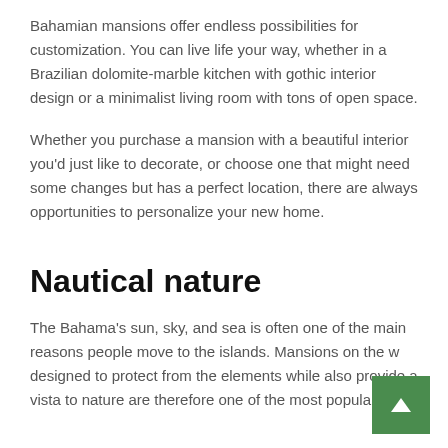Bahamian mansions offer endless possibilities for customization. You can live life your way, whether in a Brazilian dolomite-marble kitchen with gothic interior design or a minimalist living room with tons of open space.
Whether you purchase a mansion with a beautiful interior you'd just like to decorate, or choose one that might need some changes but has a perfect location, there are always opportunities to personalize your new home.
Nautical nature
The Bahama's sun, sky, and sea is often one of the main reasons people move to the islands. Mansions on the w… designed to protect from the elements while also provide a vista to nature are therefore one of the most popular picks